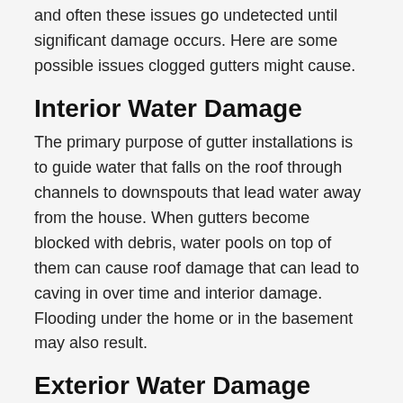and often these issues go undetected until significant damage occurs. Here are some possible issues clogged gutters might cause.
Interior Water Damage
The primary purpose of gutter installations is to guide water that falls on the roof through channels to downspouts that lead water away from the house. When gutters become blocked with debris, water pools on top of them can cause roof damage that can lead to caving in over time and interior damage. Flooding under the home or in the basement may also result.
Exterior Water Damage
The exterior of homes is most likely to initially fall prey to the woes of clogged gutters. Water in excess will begin pouring over the edge of the gutter when